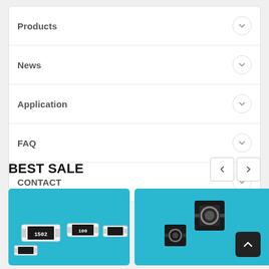Products
News
Application
FAQ
CONTACT
BEST SALE
[Figure (photo): SMD resistors on blue background showing components labeled 1502 and 100]
[Figure (photo): Electronic components (inductors/coils) on blue background, partially visible]